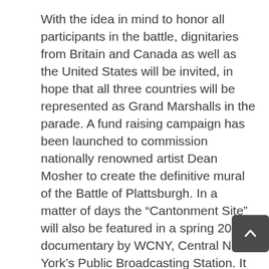With the idea in mind to honor all participants in the battle, dignitaries from Britain and Canada as well as the United States will be invited, in hope that all three countries will be represented as Grand Marshalls in the parade. A fund raising campaign has been launched to commission nationally renowned artist Dean Mosher to create the definitive mural of the Battle of Plattsburgh. In a matter of days the “Cantonment Site” will also be featured in a spring 2014 documentary by WCNY, Central New York’s Public Broadcasting Station. It is a documentary on the significance and preservation of the War of 1812 battlefields.
For more details about related events and the planning for the bicentennial commemoration, read this report.
…Bill Glidden, Deputy Town of Plattsburgh Historian